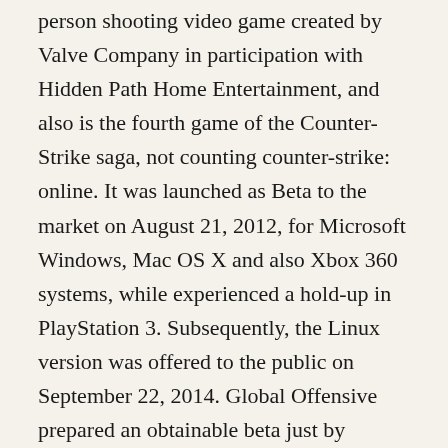person shooting video game created by Valve Company in participation with Hidden Path Home Entertainment, and also is the fourth game of the Counter-Strike saga, not counting counter-strike: online. It was launched as Beta to the market on August 21, 2012, for Microsoft Windows, Mac OS X and also Xbox 360 systems, while experienced a hold-up in PlayStation 3. Subsequently, the Linux version was offered to the public on September 22, 2014. Global Offensive prepared an obtainable beta just by invitation in Vapor, at the time the computer Player magazine introduced that the video game would certainly be formally released on August 21, 2012, at a price of EUR 10.99, although now it is complimentary. Many thanks to this, your players' base increased from 20 to 45 million, making it resumed its place within one of the most played games of the last ten years. According to developers, the video game has the exact same auto mechanics as its precursors, although with some new game settings, and also does not allow the